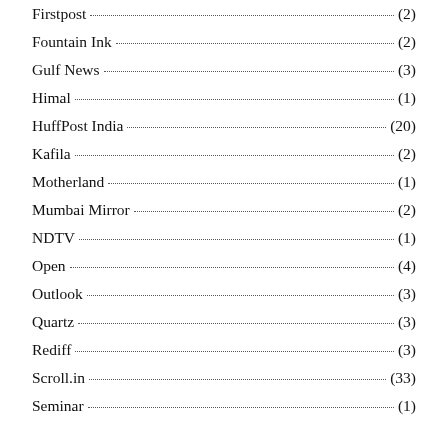Firstpost (2)
Fountain Ink (2)
Gulf News (3)
Himal (1)
HuffPost India (20)
Kafila (2)
Motherland (1)
Mumbai Mirror (2)
NDTV (1)
Open (4)
Outlook (3)
Quartz (3)
Rediff (3)
Scroll.in (33)
Seminar (1)